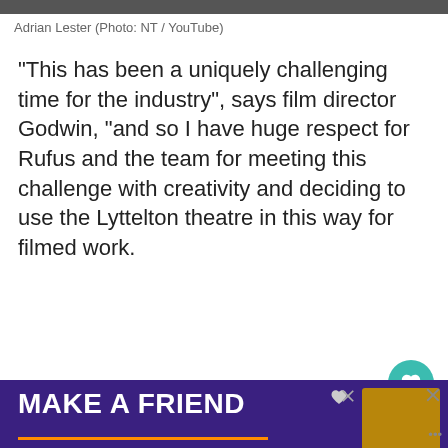[Figure (photo): Photo strip at top of page showing Adrian Lester]
Adrian Lester (Photo: NT / YouTube)
“This has been a uniquely challenging time for the industry”, says film director Godwin, “and so I have huge respect for Rufus and the team for meeting this challenge with creativity and deciding to use the Lyttelton theatre in this way for filmed work.
[Figure (infographic): Purple advertisement banner at bottom reading MAKE A FRIEND with a dog image and close buttons]